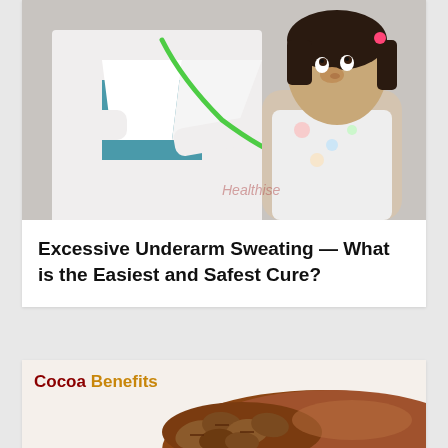[Figure (photo): A doctor in a white coat wearing a green stethoscope examining a young girl, with watermark 'Healthise' visible]
Excessive Underarm Sweating — What is the Easiest and Safest Cure?
[Figure (photo): Cocoa beans and cocoa powder with text overlay 'Cocoa Benefits']